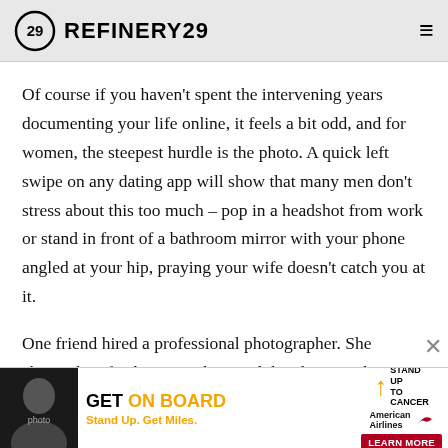REFINERY29
Of course if you haven't spent the intervening years documenting your life online, it feels a bit odd, and for women, the steepest hurdle is the photo. A quick left swipe on any dating app will show that many men don't stress about this too much – pop in a headshot from work or stand in front of a bathroom mirror with your phone angled at your hip, praying your wife doesn't catch you at it.
One friend hired a professional photographer. She changed outfits between shots and the photographer offered to touch photos up. Men get incandescent about this on dating apps. "You'r... o on the app... ccept
[Figure (screenshot): Advertisement banner: GET ON BOARD with Stand Up to Cancer and American Airlines. Stand Up. Get Miles. Learn More button.]